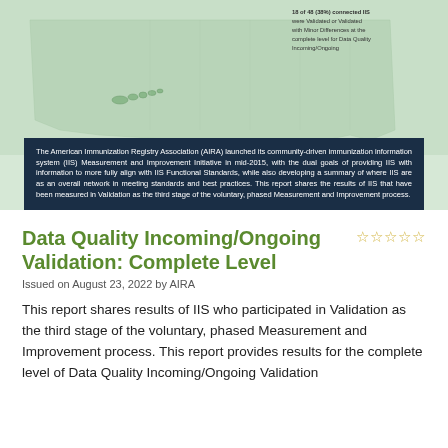[Figure (map): Map of US states with immunization registry validation status shown in green dots/legend. Includes a legend showing Validated, Major Differences, Not Measured, Opted Out categories. Text overlay states: 18 of 48 (38%) connected IIS were Validated or Validated with Minor Differences at the complete level for Data Quality Incoming/Ongoing.]
The American Immunization Registry Association (AIRA) launched its community-driven immunization information system (IIS) Measurement and Improvement Initiative in mid-2015, with the dual goals of providing IIS with information to more fully align with IIS Functional Standards, while also developing a summary of where IIS are as an overall network in meeting standards and best practices. This report shares the results of IIS that have been measured in Validation as the third stage of the voluntary, phased Measurement and Improvement process.
Data Quality Incoming/Ongoing Validation: Complete Level
Issued on August 23, 2022 by AIRA
This report shares results of IIS who participated in Validation as the third stage of the voluntary, phased Measurement and Improvement process. This report provides results for the complete level of Data Quality Incoming/Ongoing Validation